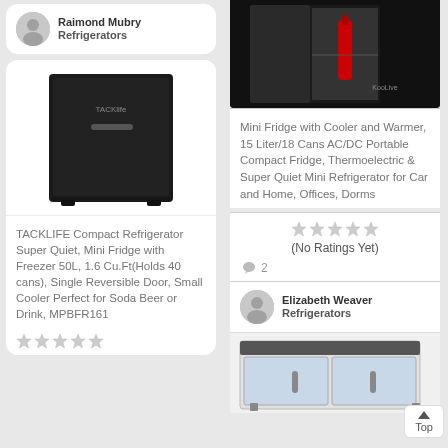Raimond Mubry
Refrigerators
[Figure (photo): Black compact mini refrigerator with TACKlife branding]
TACKLIFE Compact Refrigerator Super Quiet, Mini Fridge with Freezer 50L, 1.6 Cu.Ft(Holds 40 cans), Single Reversible Door, Small Cooler Perfect for Soda Beer or Drink, MPBFR161
[Figure (photo): Black mini fridge with door open showing red bottle inside, KooLive branding]
Mini Fridge with Cooler and Warmer, 15 Liter/18 Cans AC/DC Portable Compact Fridge, Thermoelectric & Super Quiet Mini Refrigerator for Car and Home, Offices, Dorms
(No Ratings Yet)
2
Elizabeth Weaver
Refrigerators
[Figure (photo): Commercial refrigerator with two glass doors]